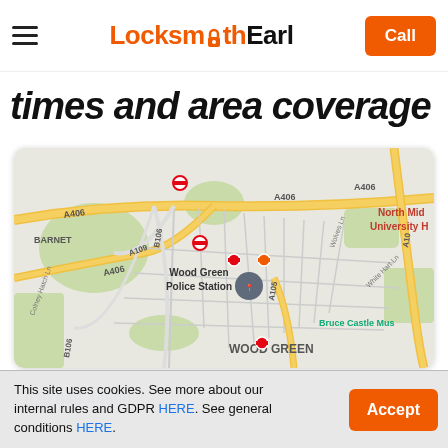Locksmith Earl — Call
times and area coverage
[Figure (map): Google Maps view showing Wood Green area in London. Visible landmarks include Wood Green Police Station, Bruce Castle Museum, Barnet area, roads A406, A109, B106, A105, A10, Colney Hatch Ln, Wolves Ln, White Hart Ln. North Middlesex University Hospital indicated top right. Wood Green label at bottom center.]
020 848 44500
This site uses cookies. See more about our internal rules and GDPR HERE. See general conditions HERE.